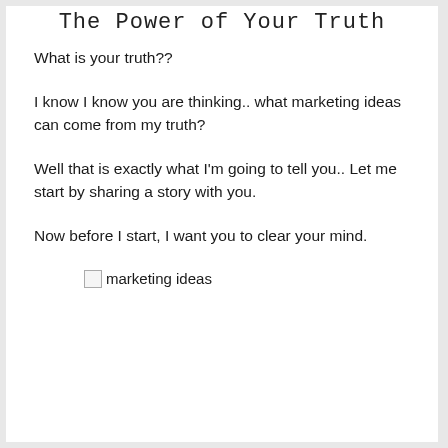The Power of Your Truth
What is your truth??
I know I know you are thinking.. what marketing ideas can come from my truth?
Well that is exactly what I'm going to tell you.. Let me start by sharing a story with you.
Now before I start, I want you to clear your mind.
[Figure (other): Broken image placeholder with alt text 'marketing ideas']